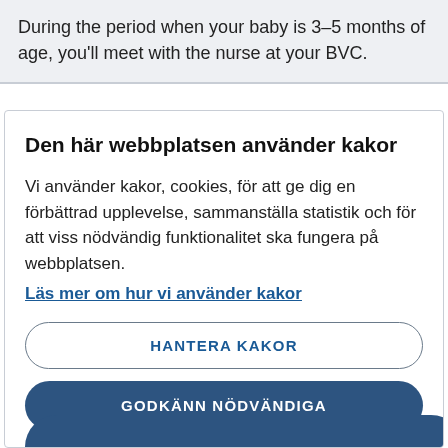During the period when your baby is 3–5 months of age, you'll meet with the nurse at your BVC.
Den här webbplatsen använder kakor
Vi använder kakor, cookies, för att ge dig en förbättrad upplevelse, sammanställa statistik och för att viss nödvändig funktionalitet ska fungera på webbplatsen.
Läs mer om hur vi använder kakor
HANTERA KAKOR
GODKÄNN NÖDVÄNDIGA